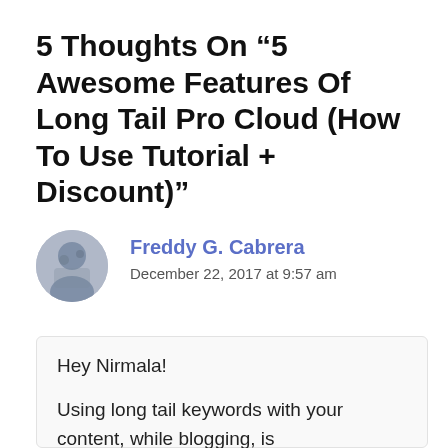5 Thoughts On “5 Awesome Features Of Long Tail Pro Cloud (How To Use Tutorial + Discount)”
[Figure (photo): Circular avatar photo of Freddy G. Cabrera]
Freddy G. Cabrera
December 22, 2017 at 9:57 am
Hey Nirmala!
Using long tail keywords with your content, while blogging, is